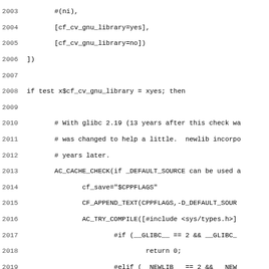Source code listing lines 2003-2035 showing shell script / autoconf macro code for GNU library detection
2003        #(ni),
2004        [cf_cv_gnu_library=yes],
2005        [cf_cv_gnu_library=no])
2006 ])
2007
2008 if test x$cf_cv_gnu_library = xyes; then
2009
2010        # With glibc 2.19 (13 years after this check wa
2011        # was changed to help a little.  newlib incorpo
2012        # years later.
2013        AC_CACHE_CHECK(if _DEFAULT_SOURCE can be used a
2014               cf_save="$CPPFLAGS"
2015               CF_APPEND_TEXT(CPPFLAGS,-D_DEFAULT_SOUR
2016               AC_TRY_COMPILE([#include <sys/types.h>]
2017                       #if (__GLIBC__ == 2 && __GLIBC_
2018                               return 0;
2019                       #elif (__NEWLIB__ == 2 && __NEW
2020                               return 0;
2021                       #else
2022                       #       error GNU C library __G
2023                       #endif],
2024                       [cf_cv_gnu_library_219=yes],
2025                       [cf_cv_gnu_library_219=no])
2026               CPPFLAGS="$cf_save"
2027        ])
2028
2029        if test "x$cf_cv_gnu_library_219" = xyes; then
2030               cf_save="$CPPFLAGS"
2031               AC_CACHE_CHECK(if _XOPEN_SOURCE=$cf_gnu
2032                       CF_ADD_CFLAGS(-D_DEFAULT_SOURCE
2033                       AC_TRY_COMPILE([
2034                               #include <limits.h>
2035                               #include <sys/types.h>